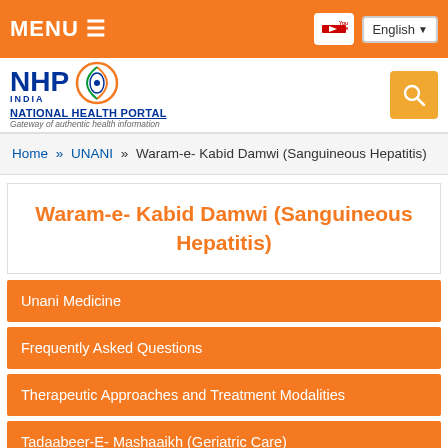MENU
[Figure (logo): NHP India National Health Portal logo with circular emblem]
Home » UNANI » Waram-e- Kabid Damwi (Sanguineous Hepatitis)
Waram-e- Kabid Damwi (Sanguineous Hepatitis)
Unani Medicine
Frequently Asked Questions
Therapeutic Approaches and Treatment Modalities
Tadaabeer-E- Mashaaikh (Geriatric Care)
Unani Approach to the Common Ailments